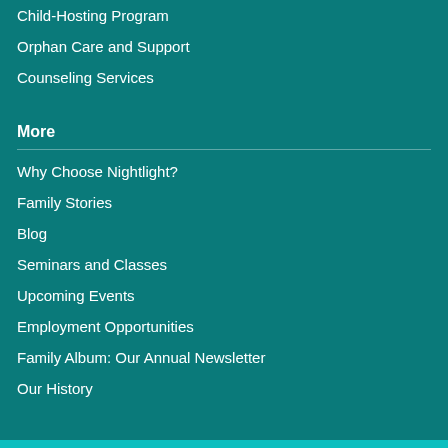Child-Hosting Program
Orphan Care and Support
Counseling Services
More
Why Choose Nightlight?
Family Stories
Blog
Seminars and Classes
Upcoming Events
Employment Opportunities
Family Album: Our Annual Newsletter
Our History